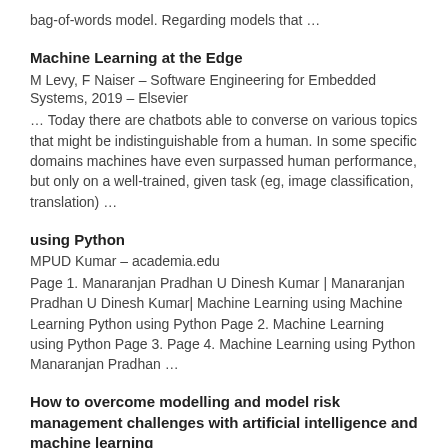bag-of-words model. Regarding models that …
Machine Learning at the Edge
M Levy, F Naiser – Software Engineering for Embedded Systems, 2019 – Elsevier
… Today there are chatbots able to converse on various topics that might be indistinguishable from a human. In some specific domains machines have even surpassed human performance, but only on a well-trained, given task (eg, image classification, translation) …
using Python
MPUD Kumar – academia.edu
Page 1. Manaranjan Pradhan U Dinesh Kumar | Manaranjan Pradhan U Dinesh Kumar| Machine Learning using Machine Learning Python using Python Page 2. Machine Learning using Python Page 3. Page 4. Machine Learning using Python Manaranjan Pradhan …
How to overcome modelling and model risk management challenges with artificial intelligence and machine learning
D Mayenberger – Journal of Risk Management in Financial …, 2019 – ingentaconnect.com